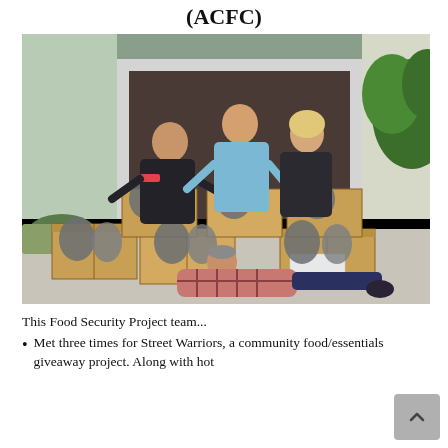(ACFC)
[Figure (photo): Four people posing in a garage doorway and driveway surrounded by open cardboard boxes filled with plastic bags of food and essentials. Three people stand/sit in the background smiling with arms outstretched. One person lies on the driveway in front of the boxes in a playful pose.]
This Food Security Project team...
Met three times for Street Warriors, a community food/essentials giveaway project. Along with hot